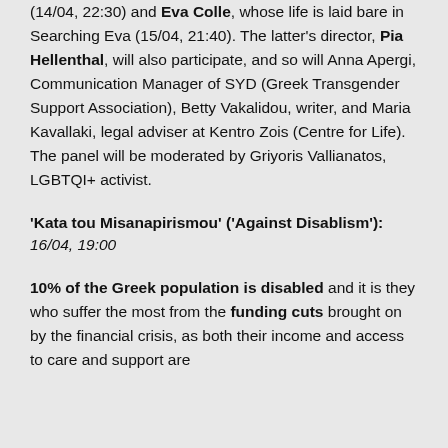(14/04, 22:30) and Eva Colle, whose life is laid bare in Searching Eva (15/04, 21:40). The latter's director, Pia Hellenthal, will also participate, and so will Anna Apergi, Communication Manager of SYD (Greek Transgender Support Association), Betty Vakalidou, writer, and Maria Kavallaki, legal adviser at Kentro Zois (Centre for Life). The panel will be moderated by Griyoris Vallianatos, LGBTQI+ activist.
'Kata tou Misanapirismou' ('Against Disablism'): 16/04, 19:00
10% of the Greek population is disabled and it is they who suffer the most from the funding cuts brought on by the financial crisis, as both their income and access to care and support are